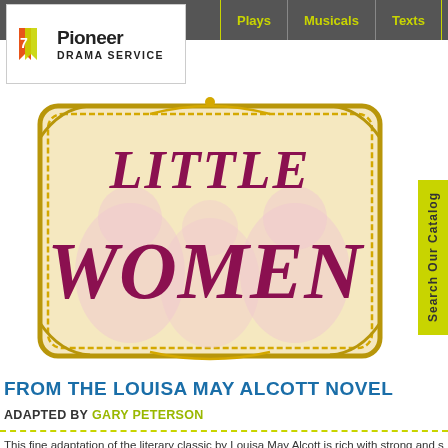Pioneer Drama Service — Plays | Musicals | Texts
[Figure (logo): Pioneer Drama Service logo with orange/red bookmark icon and bold text]
[Figure (illustration): Little Women title illustration — ornate gold-framed sign with dark crimson/maroon decorative lettering 'LITTLE WOMEN', with silhouettes of women's profiles in the background]
FROM THE LOUISA MAY ALCOTT NOVEL
ADAPTED BY GARY PETERSON
This fine adaptation of the literary classic by Louisa May Alcott is rich with strong and superb